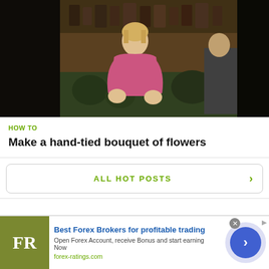[Figure (photo): A woman in a pink sweater working with flowers in a flower shop, surrounded by shelves of plants and supplies. Dark-toned photo with another person partially visible on the right.]
HOW TO
Make a hand-tied bouquet of flowers
ALL HOT POSTS
© 2022 WonderHowTo, Inc.
[Figure (illustration): Advertisement banner: FR logo (olive/green square with white FR text), text 'Best Forex Brokers for profitable trading', 'Open Forex Account, receive Bonus and start earning Now', 'forex-ratings.com', with a blue circle arrow button on the right.]